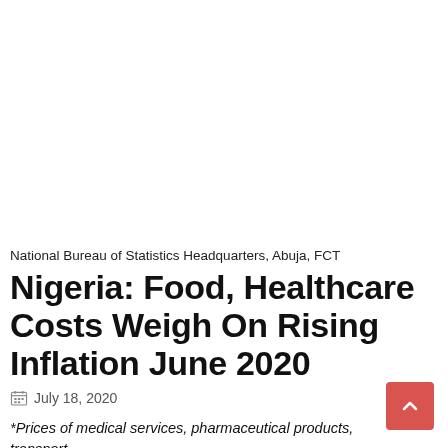National Bureau of Statistics Headquarters, Abuja, FCT
Nigeria: Food, Healthcare Costs Weigh On Rising Inflation June 2020
July 18, 2020
*Prices of medical services, pharmaceutical products, transport, associated services also increased